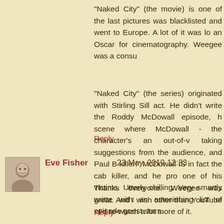"Naked City" (the movie) is one of the last pictures was blacklisted and went to Europe. A lot of it was lo an Oscar for cinematography. Weegee was a consu
"Naked City" (the series) originated with Stirling Sill act. He didn't write the Roddy McDowall episode, h scene where McDowall - the character's an out-of-v taking suggestions from the audience, and Paul B killer!" McDowall IS in fact the cab killer, and he pro one of his victims. Utterly chilling. Very smartly writte with an astonishing list of episode guest stars.
Reply
Eve Fisher   23 May, 2019 12:33
Thanks everyone. Weegee was great. And I wish other than YouTube - I'd re-watch a lot more of it.
Reply